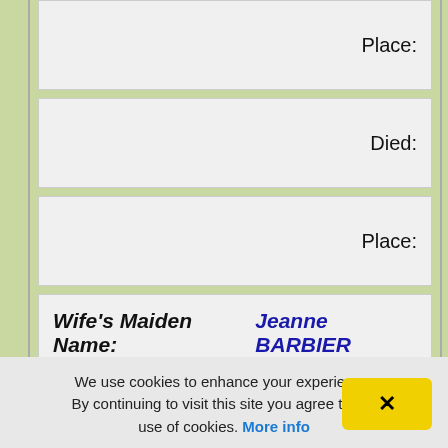| Place: |
| Died: |
| Place: |
Wife's Maiden Name: Jeanne BARBIER
Born: abt. 1649
We use cookies to enhance your experience. By continuing to visit this site you agree to our use of cookies. More info